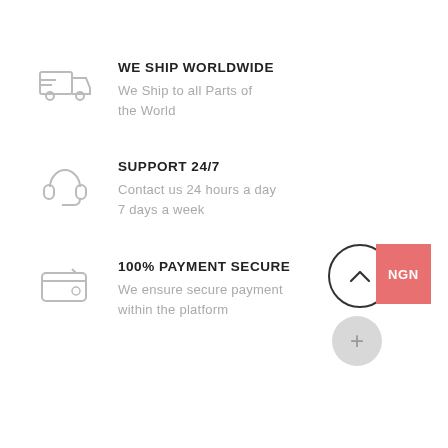WE SHIP WORLDWIDE
We Ship to all Parts of the World
SUPPORT 24/7
Contact us 24 hours a day 7 days a week
100% PAYMENT SECURE
We ensure secure payment within the platform
[Figure (infographic): Scroll-to-top button circle with chevron up icon and NGN label in red, plus a grey plus button below]